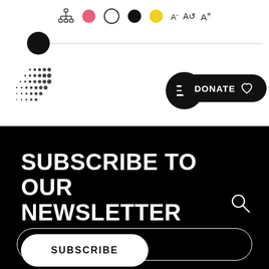[Figure (screenshot): Website header toolbar with accessibility icons: sitemap/accessibility icon, colored circle buttons (pink, white, black, yellow), font size controls (A-, reset, A+)]
[Figure (illustration): Dotted/halftone pattern logo in upper left of header bar]
[Figure (illustration): Hamburger menu icon inside black circle and DONATE button with heart icon]
SUBSCRIBE TO OUR NEWSLETTER
[Figure (illustration): Search (magnifying glass) icon]
SUBSCRIBE
This website uses cookies to improve your experience. More information here.
OK